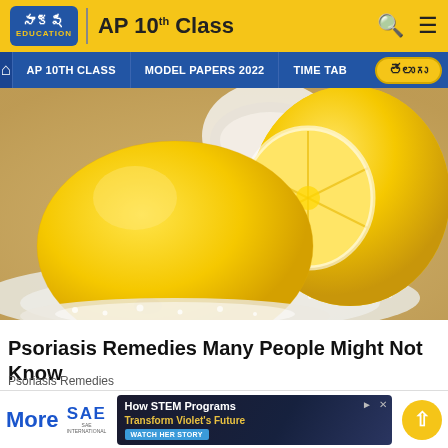సాక్షి EDUCATION | AP 10th Class
[Figure (screenshot): Website navigation bar with links: home icon, AP 10TH CLASS, MODEL PAPERS 2022, TIME TABLE, and Telugu language button]
[Figure (photo): Close-up photo of a whole lemon and a halved lemon surrounded by white salt/powder on a wooden surface, with a white bowl in background]
Psoriasis Remedies Many People Might Not Know
Psoriasis Remedies
[Figure (infographic): Advertisement banner: SAE logo, 'How STEM Programs Transform Violet's Future', WATCH HER STORY button, with More text and yellow scroll-to-top button]